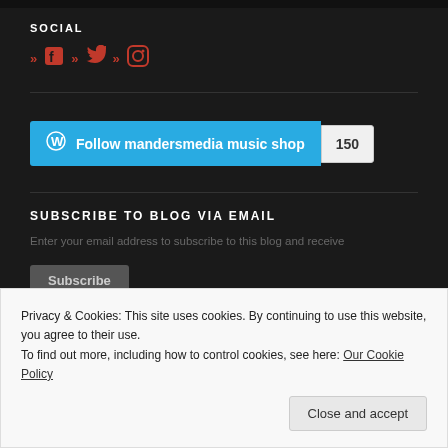SOCIAL
[Figure (illustration): Social media icons: Facebook, Twitter, Instagram with red arrow chevrons]
[Figure (other): WordPress Follow button for mandersmedia music shop with follower count 150]
SUBSCRIBE TO BLOG VIA EMAIL
Enter your email address to subscribe to this blog and receive
Subscribe
Privacy & Cookies: This site uses cookies. By continuing to use this website, you agree to their use.
To find out more, including how to control cookies, see here: Our Cookie Policy
Close and accept